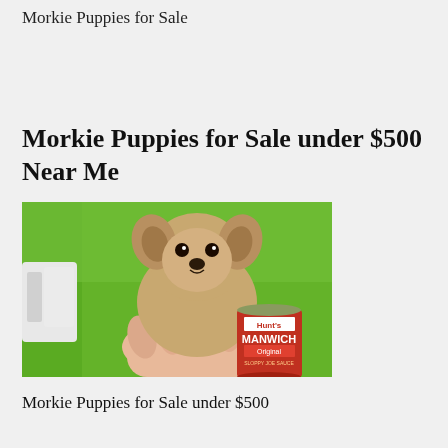Morkie Puppies for Sale
Morkie Puppies for Sale under $500 Near Me
[Figure (photo): A tiny Morkie puppy held in a human hand, on a bright green grassy background. A Hunt's Manwich Original Sloppy Joe Sauce can is visible in the lower right.]
Morkie Puppies for Sale under $500